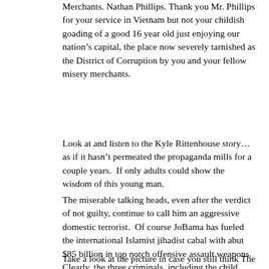Merchants. Nathan Phillips.  Thank you Mr. Phillips for your service in Vietnam but not your childish goading of a good 16 year old just enjoying our nation’s capital, the place now severely tarnished as the District of Corruption by you and your fellow misery merchants.
Look at and listen to the Kyle Rittenhouse story…as if it hasn’t permeated the propaganda mills for a couple years.  If only adults could show the wisdom of this young man.
The miserable talking heads, even after the verdict of not guilty, continue to call him an aggressive domestic terrorist.  Of course JoBama has fueled the international Islamist jihadist cabal with abut $85 billion in top notch offensive assault weapons.  Clearly, the three criminals, including the child rapist & weaponized skateboarder, were not peacefully protesting Kyle providing first aid to the riot victims.
Take a look at the picture in case you still think The View miscreant ladies have a clue about the truth.
The toddler nitwits of the radical left Democrat party just can’t